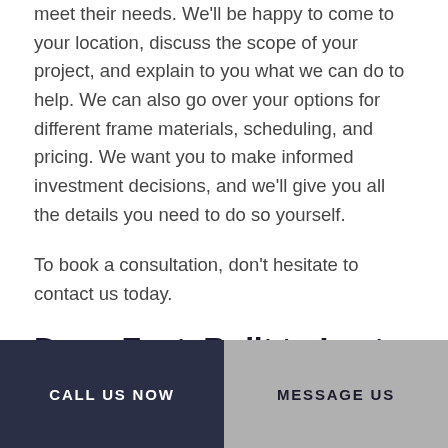meet their needs. We'll be happy to come to your location, discuss the scope of your project, and explain to you what we can do to help. We can also go over your options for different frame materials, scheduling, and pricing. We want you to make informed investment decisions, and we'll give you all the details you need to do so yourself.
To book a consultation, don't hesitate to contact us today.
Done Fast, Built to Last–Local Framing Done Right
CALL US NOW | MESSAGE US